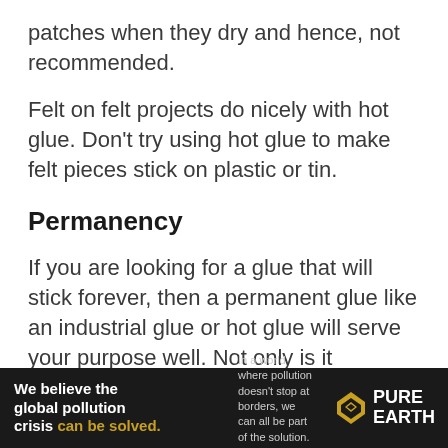patches when they dry and hence, not recommended.
Felt on felt projects do nicely with hot glue. Don't try using hot glue to make felt pieces stick on plastic or tin.
Permanency
If you are looking for a glue that will stick forever, then a permanent glue like an industrial glue or hot glue will serve your purpose well. Not only is it
[Figure (infographic): Pure Earth advertisement banner. Black background. Left: bold white text 'We believe the global pollution crisis can be solved.' with 'can be solved.' in gold/yellow. Middle: small white/grey text 'In a world where pollution doesn't stop at borders, we can all be part of the solution.' and 'JOIN US.' in gold bold. Right: Pure Earth logo with diamond/arrow icon in gold and white text 'PURE EARTH'.]